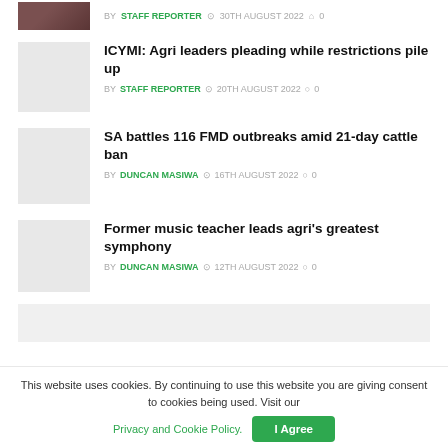BY STAFF REPORTER  30TH AUGUST 2022  0
ICYMI: Agri leaders pleading while restrictions pile up
BY STAFF REPORTER  20TH AUGUST 2022  0
SA battles 116 FMD outbreaks amid 21-day cattle ban
BY DUNCAN MASIWA  16TH AUGUST 2022  0
Former music teacher leads agri's greatest symphony
BY DUNCAN MASIWA  12TH AUGUST 2022  0
This website uses cookies. By continuing to use this website you are giving consent to cookies being used. Visit our Privacy and Cookie Policy.